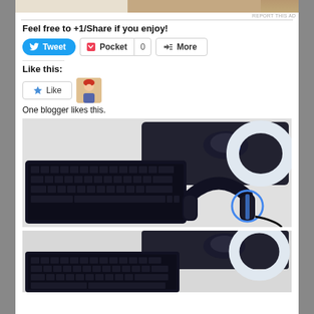[Figure (photo): Top partial image of a person]
REPORT THIS AD
Feel free to +1/Share if you enjoy!
[Figure (other): Social share buttons: Tweet, Pocket (0 count), More]
Like this:
[Figure (other): Like button with star icon and blogger avatar]
One blogger likes this.
[Figure (photo): Gaming peripherals product photo: keyboard, headset, mouse and mousepad (EWINGenius branded)]
[Figure (photo): Gaming peripherals product photo (partial): keyboard and mouse/mousepad, cropped at bottom]